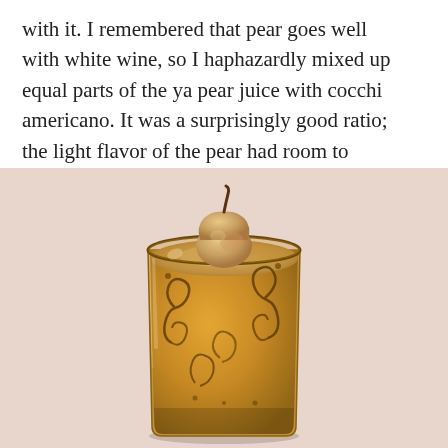with it. I remembered that pear goes well with white wine, so I haphazardly mixed up equal parts of the ya pear juice with cocchi americano. It was a surprisingly good ratio; the light flavor of the pear had room to breathe.
[Figure (photo): A golden/amber decorative glass tumbler with swirling floral pattern, containing a frothy golden-tan drink with a small pear sitting on top with its stem visible. The glass is photographed on a light pinkish-white surface.]